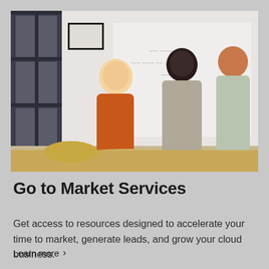[Figure (photo): Three women in a meeting room. One woman in an orange jacket stands facing a whiteboard with writing on it, holding a marker and smiling. Two other women stand with their backs to the camera looking at her.]
Go to Market Services
Get access to resources designed to accelerate your time to market, generate leads, and grow your cloud business.
Learn more >